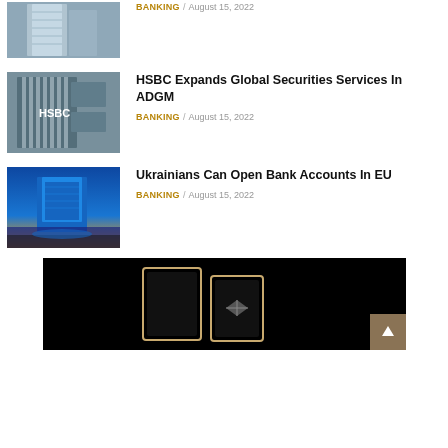[Figure (photo): Tall modern glass office building exterior viewed from below]
BANKING / August 15, 2022
[Figure (photo): HSBC building with cranes and scaffolding against blue sky]
HSBC Expands Global Securities Services In ADGM
BANKING / August 15, 2022
[Figure (photo): ECB building at dusk with city skyline and river reflection]
Ukrainians Can Open Bank Accounts In EU
BANKING / August 15, 2022
[Figure (photo): Black background with gold-framed device showing a diamond logo mark]